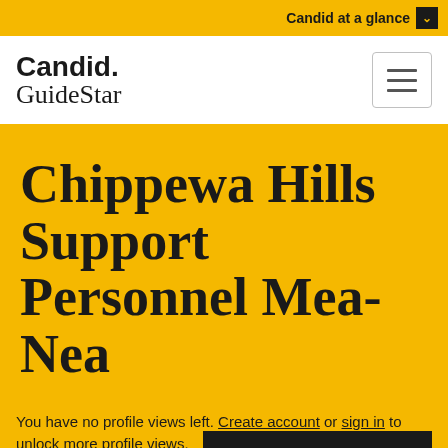Candid at a glance
Candid. GuideStar
Chippewa Hills Support Personnel Mea-Nea
You have no profile views left. Create account or sign in to unlock more profile views.